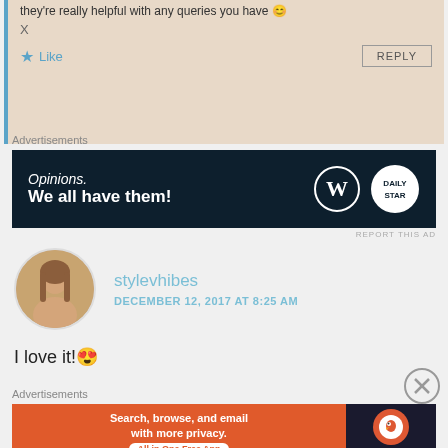they're really helpful with any queries you have 😊
X
★ Like
REPLY
Advertisements
[Figure (screenshot): Advertisement banner: dark navy background with italic text 'Opinions. We all have them!' and WordPress and DailyStar logos]
REPORT THIS AD
stylevhibes
DECEMBER 12, 2017 AT 8:25 AM
I love it!😍
Advertisements
[Figure (screenshot): DuckDuckGo advertisement: orange background with 'Search, browse, and email with more privacy. All in One Free App' and DuckDuckGo logo on dark right side]